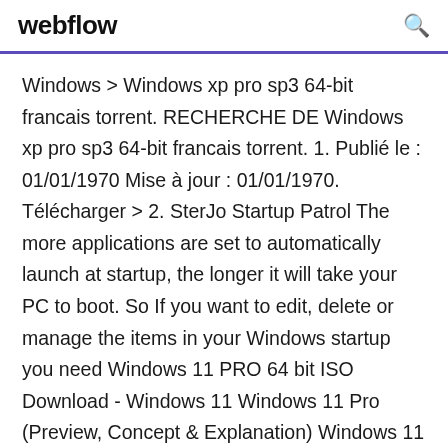webflow
Windows > Windows xp pro sp3 64-bit francais torrent. RECHERCHE DE Windows xp pro sp3 64-bit francais torrent. 1. Publié le : 01/01/1970 Mise à jour : 01/01/1970. Télécharger > 2. SterJo Startup Patrol The more applications are set to automatically launch at startup, the longer it will take your PC to boot. So If you want to edit, delete or manage the items in your Windows startup you need Windows 11 PRO 64 bit ISO Download - Windows 11 Windows 11 Pro (Preview, Concept & Explanation) Windows 11 PRO ISO 64 bit Download Free : We still do not understand if Microsoft is open sufficient to pointers so regarding implement these